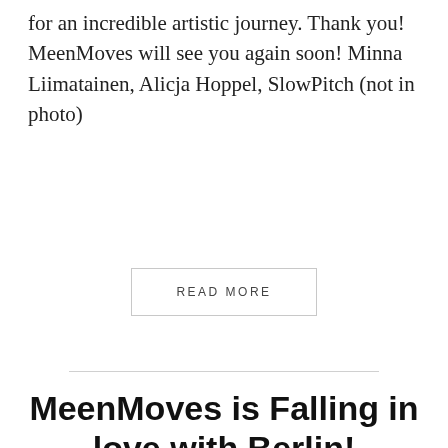for an incredible artistic journey. Thank you! MeenMoves will see you again soon! Minna Liimatainen, Alicja Hoppel, SlowPitch (not in photo)
READ MORE
MeenMoves is Falling in love with Berlin!
July 27, 2016
In rehearsal with the striking Minna Liimatainen